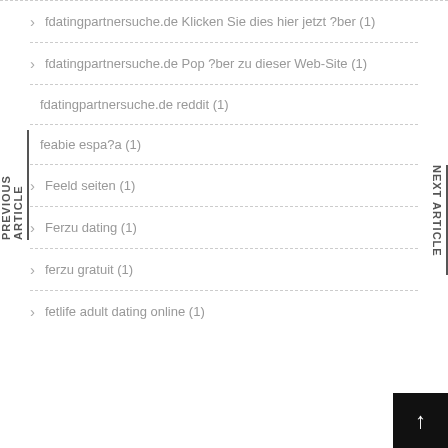fdatingpartnersuche.de Klicken Sie dies hier jetzt ?ber (1)
fdatingpartnersuche.de Pop ?ber zu dieser Web-Site (1)
fdatingpartnersuche.de reddit (1)
feabie espa?a (1)
Feeld seiten (1)
Ferzu dating (1)
ferzu gratuit (1)
fetlife adult dating online (1)